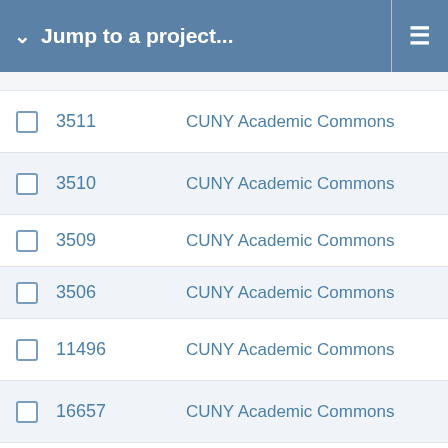Jump to a project...
3511  CUNY Academic Commons
3510  CUNY Academic Commons
3509  CUNY Academic Commons
3506  CUNY Academic Commons
11496  CUNY Academic Commons
16657  CUNY Academic Commons
16690  CUNY Academic Commons